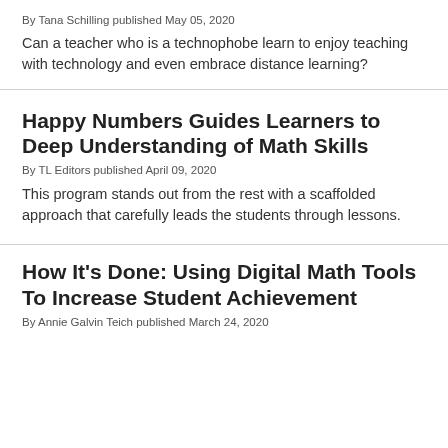By Tana Schilling published May 05, 2020
Can a teacher who is a technophobe learn to enjoy teaching with technology and even embrace distance learning?
Happy Numbers Guides Learners to Deep Understanding of Math Skills
By TL Editors published April 09, 2020
This program stands out from the rest with a scaffolded approach that carefully leads the students through lessons.
How It's Done: Using Digital Math Tools To Increase Student Achievement
By Annie Galvin Teich published March 24, 2020